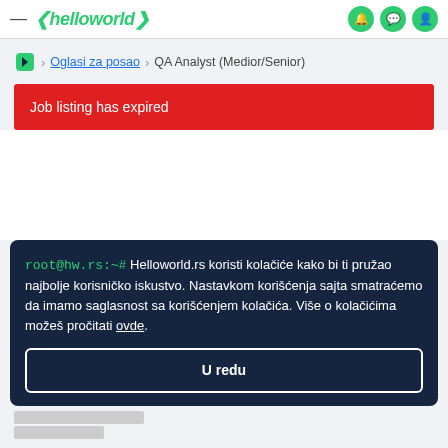— «helloworld» (nav icons)
> Oglasi za posao > QA Analyst (Medior/Senior)
Job listing has expired
root@hw.rs:~# Helloworld.rs koristi kolačiće kako bi ti pružao najbolje korisničko iskustvo. Nastavkom korišćenja sajta smatraćemo da imamo saglasnost sa korišćenjem kolačića. Više o kolačićima možeš pročitati ovde.
U redu